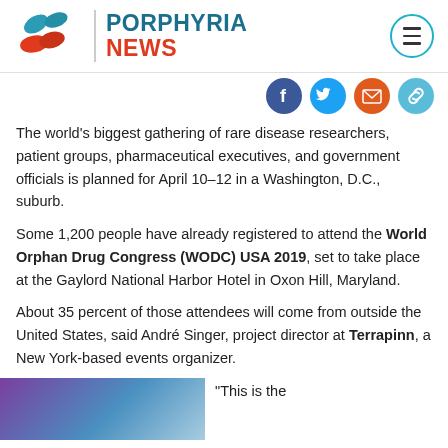PORPHYRIA NEWS
[Figure (logo): Porphyria News logo with red pill/capsule icons and teal/blue brand name]
[Figure (infographic): Social media sharing icons: Facebook (blue), Twitter (blue), email/envelope (orange-red), link (teal)]
The world's biggest gathering of rare disease researchers, patient groups, pharmaceutical executives, and government officials is planned for April 10–12 in a Washington, D.C., suburb.
Some 1,200 people have already registered to attend the World Orphan Drug Congress (WODC) USA 2019, set to take place at the Gaylord National Harbor Hotel in Oxon Hill, Maryland.
About 35 percent of those attendees will come from outside the United States, said André Singer, project director at Terrapinn, a New York-based events organizer.
[Figure (photo): Partial photo of a person, bluish-purple lighting]
“This is the